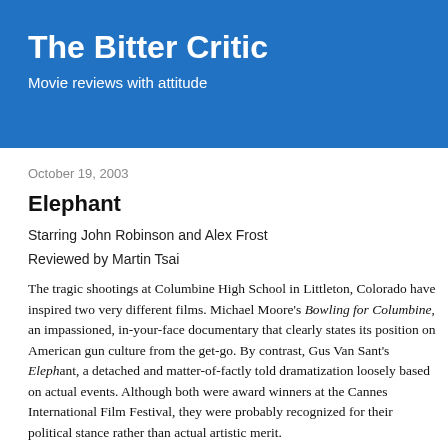The Bitter Critic
Movie reviews with attitude
October 19, 2003
Elephant
Starring John Robinson and Alex Frost
Reviewed by Martin Tsai
The tragic shootings at Columbine High School in Littleton, Colorado have inspired two very different films. Michael Moore's Bowling for Columbine, an impassioned, in-your-face documentary that clearly states its position on American gun culture from the get-go. By contrast, Gus Van Sant's Elephant, a detached and matter-of-factly told dramatization loosely based on actual events. Although both were award winners at the Cannes International Film Festival, they were probably recognized for their political stance rather than actual artistic merit.
Elephant, which won Palme d’Or and Best Director at Cannes, certainly